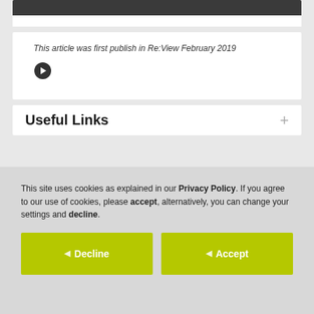[Figure (other): Dark gray banner at top of a white card]
This article was first publish in Re:View February 2019
[Figure (other): Right-arrow circle button/icon]
Useful Links
This site uses cookies as explained in our Privacy Policy. If you agree to our use of cookies, please accept, alternatively, you can change your settings and decline.